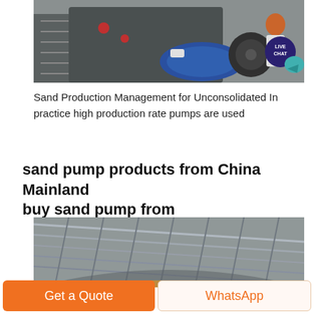[Figure (photo): Industrial mining/crushing machine with blue motor, metal structure, stairs, and worker in red hard hat and white clothing in background]
Sand Production Management for Unconsolidated In practice high production rate pumps are used
sand pump products from China Mainland buy sand pump from
[Figure (photo): Interior of large industrial warehouse or factory building showing metal roof structure and curved architectural elements]
Get a Quote
WhatsApp